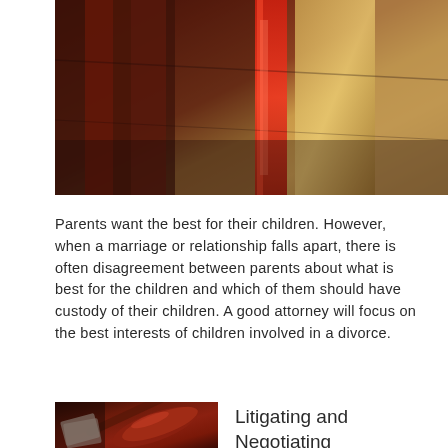[Figure (photo): Close-up photo of law books or leather-bound volumes with red and gold colors]
Parents want the best for their children. However, when a marriage or relationship falls apart, there is often disagreement between parents about what is best for the children and which of them should have custody of their children. A good attorney will focus on the best interests of children involved in a divorce.
[Figure (photo): Photo of a judge's gavel on a desk, dark wood with documents]
Litigating and Negotiating Custody